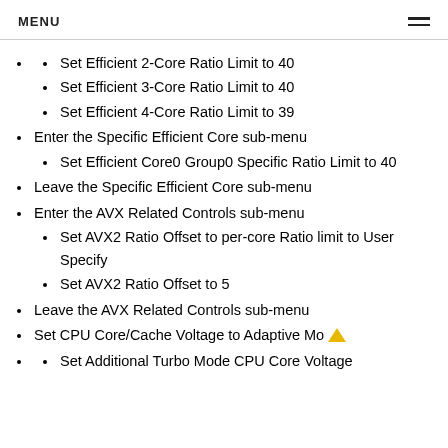MENU
Set Efficient 2-Core Ratio Limit to 40
Set Efficient 3-Core Ratio Limit to 40
Set Efficient 4-Core Ratio Limit to 39
Enter the Specific Efficient Core sub-menu
Set Efficient Core0 Group0 Specific Ratio Limit to 40
Leave the Specific Efficient Core sub-menu
Enter the AVX Related Controls sub-menu
Set AVX2 Ratio Offset to per-core Ratio limit to User Specify
Set AVX2 Ratio Offset to 5
Leave the AVX Related Controls sub-menu
Set CPU Core/Cache Voltage to Adaptive Mo
Set Additional Turbo Mode CPU Core Voltage